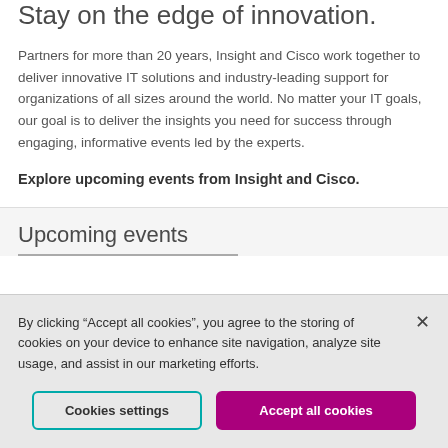Stay on the edge of innovation.
Partners for more than 20 years, Insight and Cisco work together to deliver innovative IT solutions and industry-leading support for organizations of all sizes around the world. No matter your IT goals, our goal is to deliver the insights you need for success through engaging, informative events led by the experts.
Explore upcoming events from Insight and Cisco.
Upcoming events
By clicking “Accept all cookies”, you agree to the storing of cookies on your device to enhance site navigation, analyze site usage, and assist in our marketing efforts.